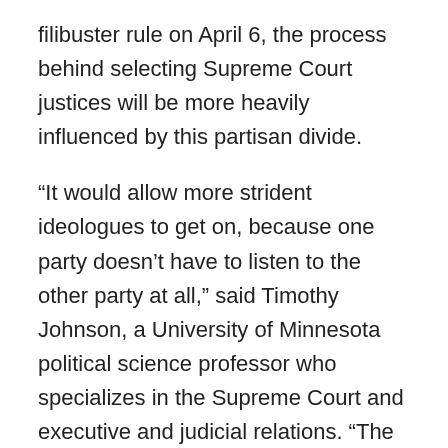filibuster rule on April 6, the process behind selecting Supreme Court justices will be more heavily influenced by this partisan divide.
“It would allow more strident ideologues to get on, because one party doesn’t have to listen to the other party at all,” said Timothy Johnson, a University of Minnesota political science professor who specializes in the Supreme Court and executive and judicial relations. “The reason for the filibuster is to force a supermajority of 60 so you have in